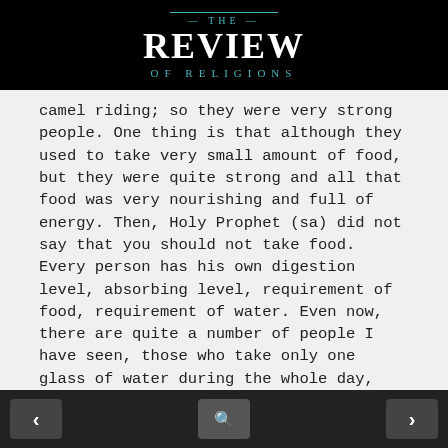THE REVIEW OF RELIGIONS
camel riding; so they were very strong people. One thing is that although they used to take very small amount of food, but they were quite strong and all that food was very nourishing and full of energy. Then, Holy Prophet (sa) did not say that you should not take food. Every person has his own digestion level, absorbing level, requirement of food, requirement of water. Even now, there are quite a number of people I have seen, those who take only one glass of water during the whole day, even in hot weather. If I take only one glass of water I will be dehydrated. That was the requirement [for him]; this is why he says that whatever your
< [search icon] >